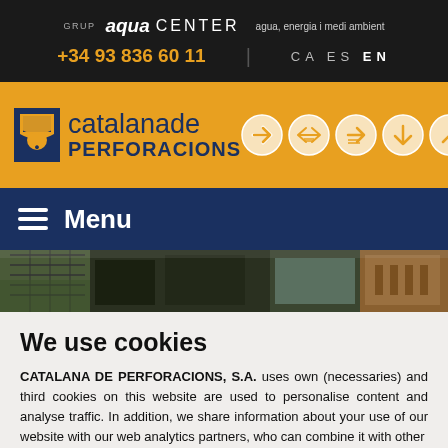GRUP aquaCENTER agua, energia i medi ambient
+34 93 836 60 11   CA ES EN
[Figure (logo): Catalana de Perforacions logo with navigation icons on yellow background]
Menu
[Figure (photo): Photo strip showing building rooftops with solar panels]
We use cookies
CATALANA DE PERFORACIONS, S.A. uses own (necessaries) and third cookies on this website are used to personalise content and analyse traffic. In addition, we share information about your use of our website with our web analytics partners, who can combine it with other